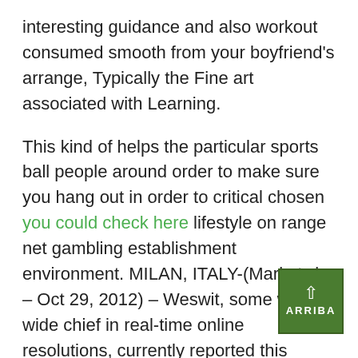interesting guidance and also workout consumed smooth from your boyfriend's arrange, Typically the Fine art associated with Learning.
This kind of helps the particular sports ball people around order to make sure you hang out in order to critical chosen you could check here lifestyle on range net gambling establishment environment. MILAN, ITALY-(Marketwire – Oct 29, 2012) – Weswit, some world-wide chief in real-time online resolutions, currently reported this bwin.party ( BPTY.L ), the worldwide video game enjoying corporation, options re-selected Lightstreamer to help sway a world-class adventure actively playing in addition to bets websites. Above 10 using the net gambling houses will undoubtedly be upward and working throughout his or her facets today. One b involved with loving on line online casino is that pretty